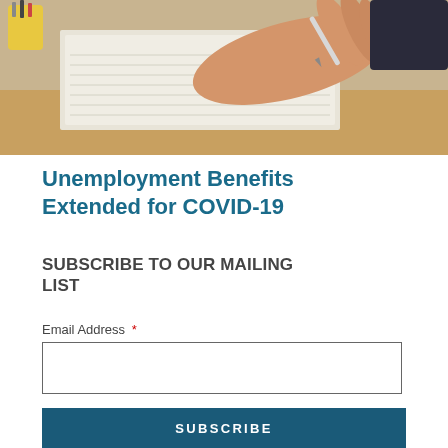[Figure (photo): Close-up photo of a person's hand holding a pen and writing in a notebook on a desk, with a blurred background showing a cup with pens.]
Unemployment Benefits Extended for COVID-19
SUBSCRIBE TO OUR MAILING LIST
Email Address *
SUBSCRIBE